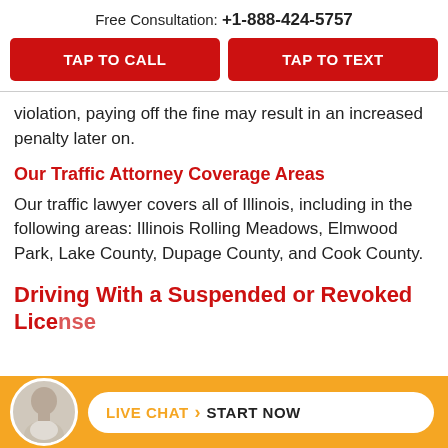Free Consultation: +1-888-424-5757
TAP TO CALL
TAP TO TEXT
violation, paying off the fine may result in an increased penalty later on.
Our Traffic Attorney Coverage Areas
Our traffic lawyer covers all of Illinois, including in the following areas: Illinois Rolling Meadows, Elmwood Park, Lake County, Dupage County, and Cook County.
Driving With a Suspended or Revoked License
LIVE CHAT › START NOW